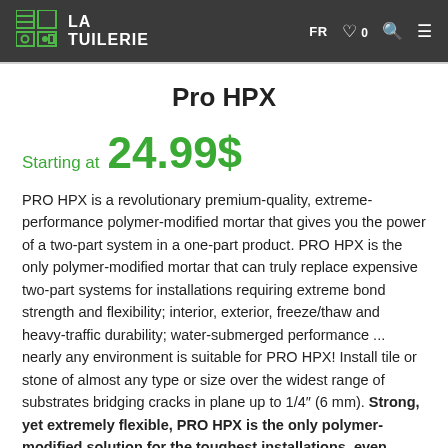LA TUILERIE — FR ♡ 0 🔍 ≡
Pro HPX
Starting at 24.99$
PRO HPX is a revolutionary premium-quality, extreme-performance polymer-modified mortar that gives you the power of a two-part system in a one-part product. PRO HPX is the only polymer-modified mortar that can truly replace expensive two-part systems for installations requiring extreme bond strength and flexibility; interior, exterior, freeze/thaw and heavy-traffic durability; water-submerged performance ... nearly any environment is suitable for PRO HPX! Install tile or stone of almost any type or size over the widest range of substrates bridging cracks in plane up to 1/4″ (6 mm). Strong, yet extremely flexible, PRO HPX is the only polymer-modified solution for the toughest installations, even gaining strength over time when